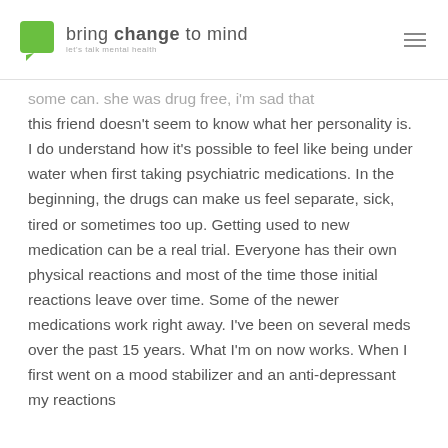bring change to mind — let's talk mental health
some can. she was drug free, i'm sad that this friend doesn't seem to know what her personality is. I do understand how it's possible to feel like being under water when first taking psychiatric medications. In the beginning, the drugs can make us feel separate, sick, tired or sometimes too up. Getting used to new medication can be a real trial. Everyone has their own physical reactions and most of the time those initial reactions leave over time. Some of the newer medications work right away. I've been on several meds over the past 15 years. What I'm on now works. When I first went on a mood stabilizer and an anti-depressant my reactions